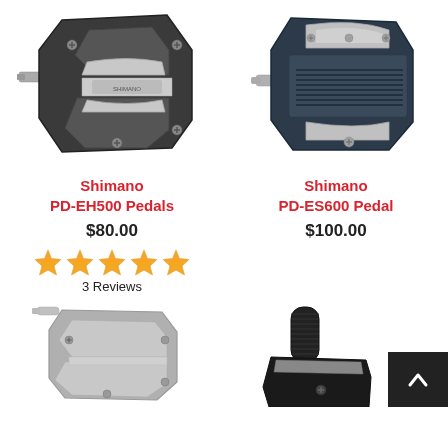[Figure (photo): Shimano PD-EH500 Pedals - top view of dark gray clipless bicycle pedal with silver cleat mechanism]
[Figure (photo): Shimano PD-ES600 Pedal - top view of dark navy clipless bicycle pedal with silver cleat mechanism]
Shimano PD-EH500 Pedals
Shimano PD-ES600 Pedal
$80.00
$100.00
[Figure (other): 5 orange star rating icons]
3 Reviews
[Figure (photo): Silver/chrome bicycle pedal - partial view from below/side angle]
[Figure (photo): Black bicycle pedal spindle/axle - partial view from side]